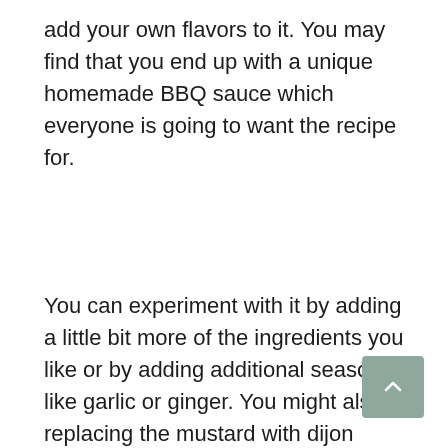add your own flavors to it. You may find that you end up with a unique homemade BBQ sauce which everyone is going to want the recipe for.
You can experiment with it by adding a little bit more of the ingredients you like or by adding additional seasoning like garlic or ginger. You might also try replacing the mustard with dijon mustard or adding some hot sauce to spice things up a bit.